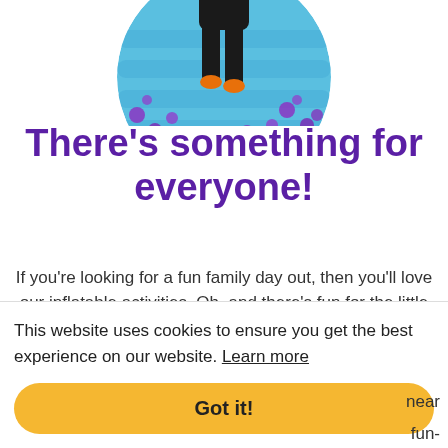[Figure (photo): Circular cropped photo of a person walking on a blue inflatable with purple balls, viewed from above]
There's something for everyone!
If you're looking for a fun family day out, then you'll love our inflatable activities. Oh, and there's fun for the little tots too, an action-packed area specially
ng in
This website uses cookies to ensure you get the best experience on our website. Learn more
near
fun-
Got it!